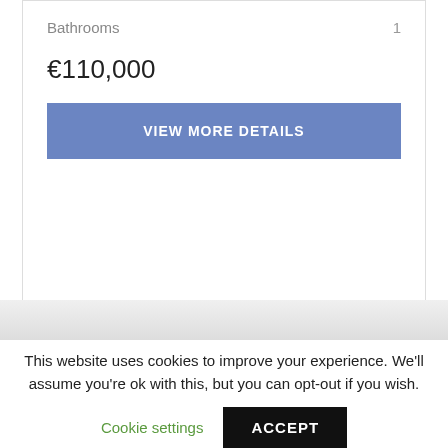Bathrooms    1
€110,000
VIEW MORE DETAILS
This website uses cookies to improve your experience. We'll assume you're ok with this, but you can opt-out if you wish.
Cookie settings
ACCEPT